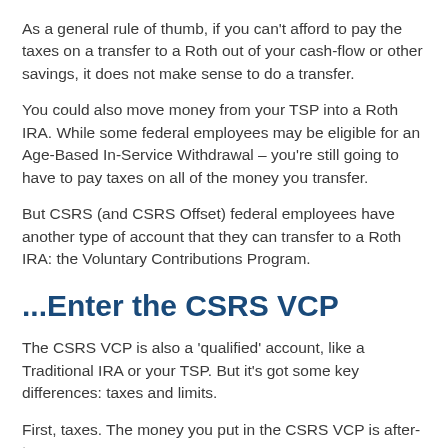As a general rule of thumb, if you can't afford to pay the taxes on a transfer to a Roth out of your cash-flow or other savings, it does not make sense to do a transfer.
You could also move money from your TSP into a Roth IRA. While some federal employees may be eligible for an Age-Based In-Service Withdrawal – you're still going to have to pay taxes on all of the money you transfer.
But CSRS (and CSRS Offset) federal employees have another type of account that they can transfer to a Roth IRA: the Voluntary Contributions Program.
...Enter the CSRS VCP
The CSRS VCP is also a 'qualified' account, like a Traditional IRA or your TSP. But it's got some key differences: taxes and limits.
First, taxes. The money you put in the CSRS VCP is after-tax